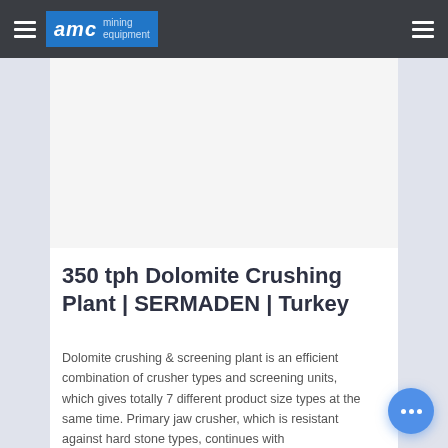AMC mining equipment
350 tph Dolomite Crushing Plant | SERMADEN | Turkey
Dolomite crushing & screening plant is an efficient combination of crusher types and screening units, which gives totally 7 different product size types at the same time. Primary jaw crusher, which is resistant against hard stone types, continues with